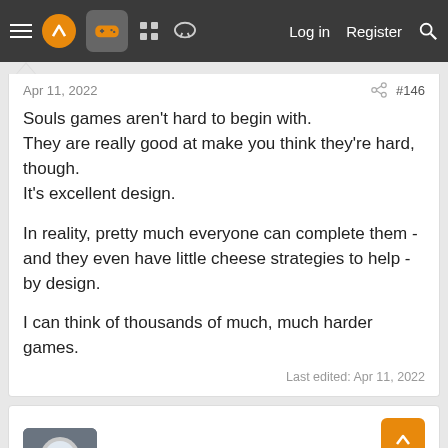Navigation bar with logo, gamepad icon, forum icons, Log in, Register, Search
Apr 11, 2022 #146
Souls games aren't hard to begin with.
They are really good at make you think they're hard, though.
It's excellent design.

In reality, pretty much everyone can complete them - and they even have little cheese strategies to help - by design.

I can think of thousands of much, much harder games.

Last edited: Apr 11, 2022
TonyK Member Apr 11, 2022 #147